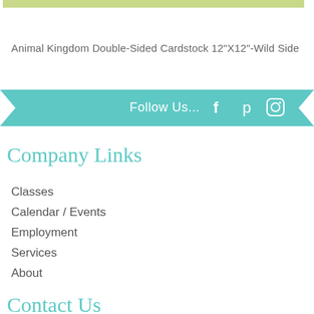[Figure (other): Green horizontal bar at top of page]
Animal Kingdom Double-Sided Cardstock 12"X12"-Wild Side
[Figure (other): Teal/turquoise ribbon banner with 'Follow Us...' text and social media icons for Facebook, Pinterest, and Instagram]
Company Links
Classes
Calendar / Events
Employment
Services
About
Contact Us